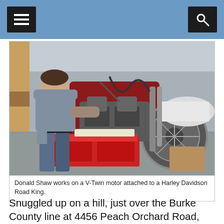Navigation header with menu and search buttons
[Figure (photo): A man (Donald Shaw) working on a V-Twin motor attached to a Harley Davidson Road King motorcycle in a shop setting. He is wearing a gray t-shirt and jeans.]
Donald Shaw works on a V-Twin motor attached to a Harley Davidson Road King.
Snuggled up on a hill, just over the Burke County line at 4456 Peach Orchard Road, sits Donald Shaw Motorcycles, the closest motorcycle repair shop to Waynesboro.
Shaw has been there for nearly 37 years. He learned his craft by doing it. He started out by working on lawnmower engines and worked his way up to motorcycles.